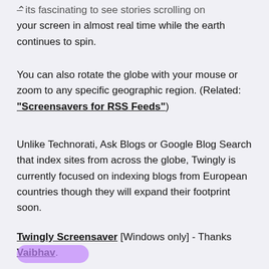your screen in almost real time while the earth continues to spin.
You can also rotate the globe with your mouse or zoom to any specific geographic region. (Related: “Screensavers for RSS Feeds”)
Unlike Technorati, Ask Blogs or Google Blog Search that index sites from across the globe, Twingly is currently focused on indexing blogs from European countries though they will expand their footprint soon.
Twingly Screensaver [Windows only] - Thanks Vaibhav.